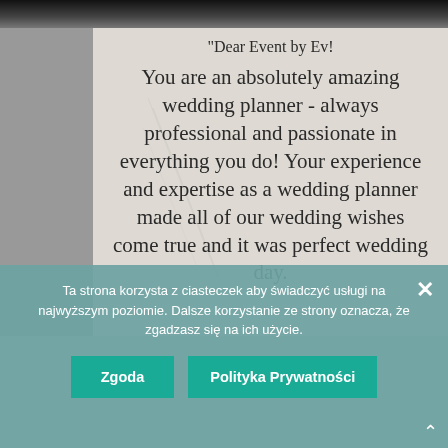[Figure (photo): Black and white photo strip at top, partially visible]
"Dear Event by Ev!

You are an absolutely amazing wedding planner - always professional and passionate in everything you do! Your experience and expertise as a wedding planner made all of our wedding wishes come true and it was perfect wedding day.
Ta strona korzysta z ciasteczek aby świadczyć usługi na najwyższym poziomie. Dalsze korzystanie ze strony oznacza, że zgadzasz się na ich użycie.
Zgoda
Polityka Prywatności